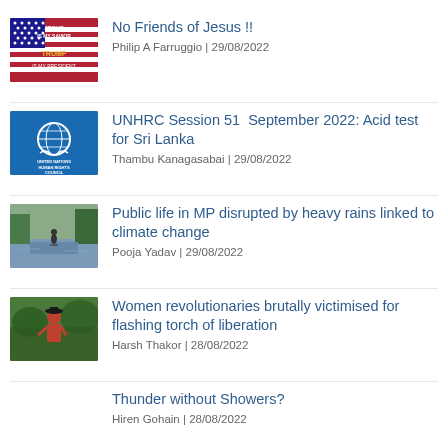No Friends of Jesus !!
Philip A Farruggio | 29/08/2022
UNHRC Session 51 September 2022: Acid test for Sri Lanka
Thambu Kanagasabai | 29/08/2022
Public life in MP disrupted by heavy rains linked to climate change
Pooja Yadav | 29/08/2022
Women revolutionaries brutally victimised for flashing torch of liberation
Harsh Thakor | 28/08/2022
Thunder without Showers?
Hiren Gohain | 28/08/2022